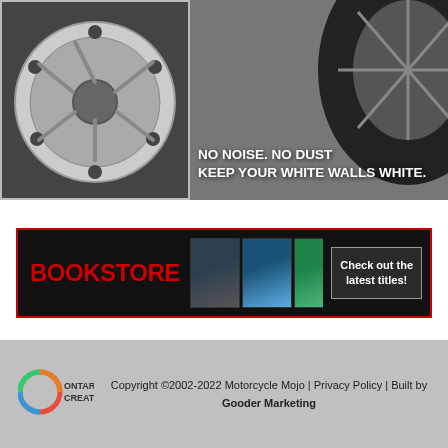[Figure (photo): Advertisement banner showing motorcycle brake disc on left and tire on right with text 'NO NOISE. NO DUST KEEP YOUR WHITE WALLS WHITE.']
[Figure (infographic): Bookstore banner with red BOOKSTORE text, book cover thumbnails, and 'Check out the latest titles!' call-to-action box on black background]
Copyright ©2002-2022 Motorcycle Mojo | Privacy Policy | Built by Gooder Marketing